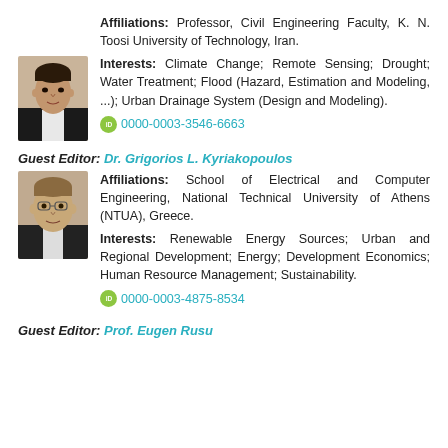Affiliations: Professor, Civil Engineering Faculty, K. N. Toosi University of Technology, Iran.
Interests: Climate Change; Remote Sensing; Drought; Water Treatment; Flood (Hazard, Estimation and Modeling, ...); Urban Drainage System (Design and Modeling).
0000-0003-3546-6663
Guest Editor: Dr. Grigorios L. Kyriakopoulos
Affiliations: School of Electrical and Computer Engineering, National Technical University of Athens (NTUA), Greece.
Interests: Renewable Energy Sources; Urban and Regional Development; Energy; Development Economics; Human Resource Management; Sustainability.
0000-0003-4875-8534
Guest Editor: Prof. Eugen Rusu